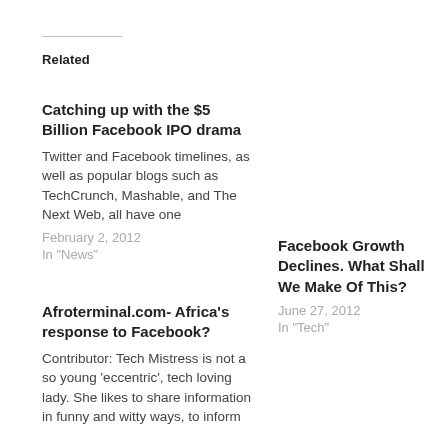Related
Catching up with the $5 Billion Facebook IPO drama
Twitter and Facebook timelines, as well as popular blogs such as TechCrunch, Mashable, and The Next Web, all have one
February 2, 2012
In "News"
Facebook Growth Declines. What Shall We Make Of This?
June 27, 2012
In "Tech"
Afroterminal.com- Africa's response to Facebook?
Contributor: Tech Mistress is not a so young 'eccentric', tech loving lady. She likes to share information in funny and witty ways, to inform